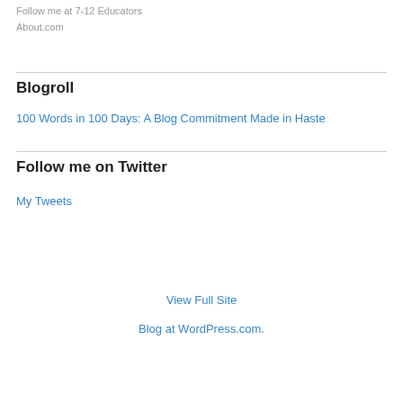Follow me at 7-12 Educators
About.com
Blogroll
100 Words in 100 Days: A Blog Commitment Made in Haste
Follow me on Twitter
My Tweets
View Full Site
Blog at WordPress.com.